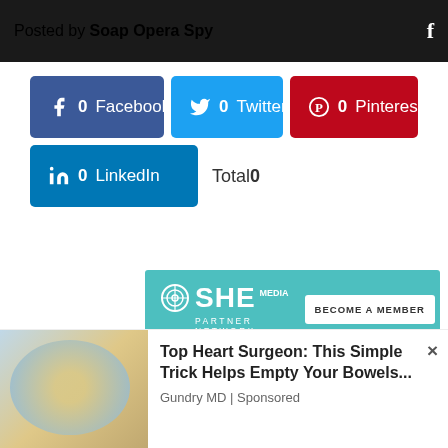Posted by Soap Opera Spy
[Figure (infographic): Social share buttons: Facebook (0), Twitter (0), Pinterest (0), LinkedIn (0), Total 0]
[Figure (infographic): SHE Media Partner Network advertisement with BECOME A MEMBER button]
[Figure (infographic): Top Heart Surgeon: This Simple Trick Helps Empty Your Bowels... - Gundry MD | Sponsored advertisement banner]